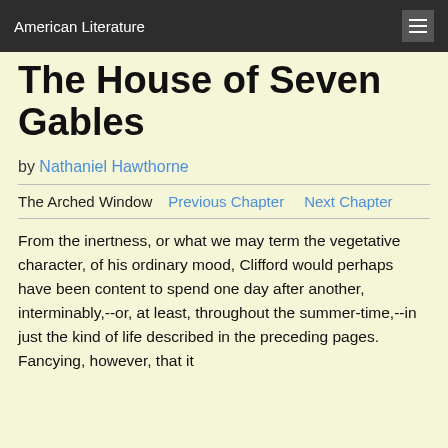American Literature
The House of Seven Gables
by Nathaniel Hawthorne
The Arched Window   Previous Chapter   Next Chapter
From the inertness, or what we may term the vegetative character, of his ordinary mood, Clifford would perhaps have been content to spend one day after another, interminably,--or, at least, throughout the summer-time,--in just the kind of life described in the preceding pages. Fancying, however, that it